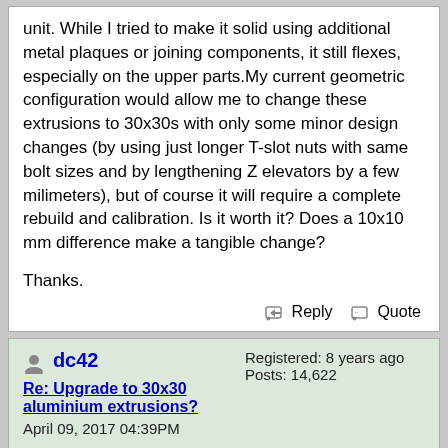unit. While I tried to make it solid using additional metal plaques or joining components, it still flexes, especially on the upper parts.My current geometric configuration would allow me to change these extrusions to 30x30s with only some minor design changes (by using just longer T-slot nuts with same bolt sizes and by lengthening Z elevators by a few milimeters), but of course it will require a complete rebuild and calibration. Is it worth it? Does a 10x10 mm difference make a tangible change?
Thanks.
Reply   Quote
dc42
Re: Upgrade to 30x30 aluminium extrusions?
April 09, 2017 04:39PM
Registered: 8 years ago
Posts: 14,622
Stiffness is proportional to the cube of thickness, so if flexing of the extrusions is the main issue, I think that a 50% increase in thickness should reduce the displacement due to flexing to 8/27 of the current